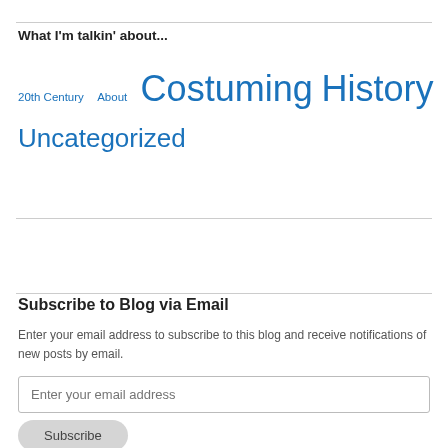What I'm talkin' about...
20th Century
About
Costuming
History
Uncategorized
Subscribe to Blog via Email
Enter your email address to subscribe to this blog and receive notifications of new posts by email.
Enter your email address
Subscribe